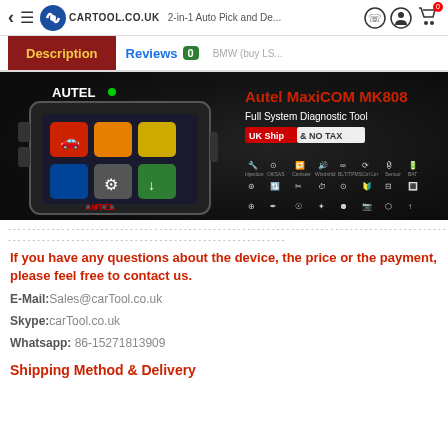< ≡ CARTOOL.CO.UK ... 2-in-1 Auto Pick and Decode... BMW (buy LS...)
Description | Reviews 0
[Figure (photo): Autel MaxiCOM MK808 Full System Diagnostic Tool product image showing the device with icons grid and UK Ship & NO TAX badge on dark background]
----------------------------------------------------------------------------------------------------------------------------------------
----------------------------------------------------------
If you have any questions about the device, the price or the payment, please feel free to contact us.
E-Mail:Sales@carTool.co.uk
Skype:carTool.co.uk
Whatsapp: 86-15271813909
Shipping Method & Delivery